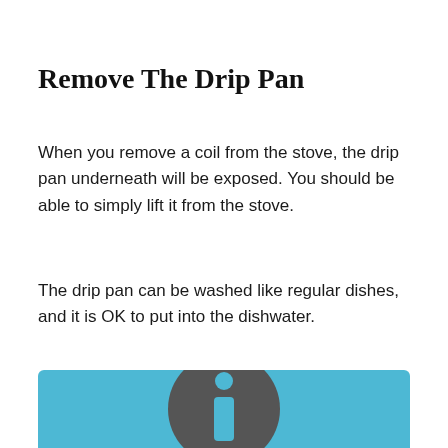Remove The Drip Pan
When you remove a coil from the stove, the drip pan underneath will be exposed. You should be able to simply lift it from the stove.
The drip pan can be washed like regular dishes, and it is OK to put into the dishwater.
[Figure (illustration): Blue info box with a dark gray circular information icon (letter i) centered in it]